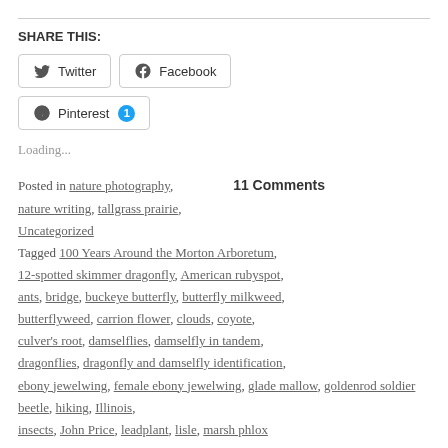SHARE THIS:
Twitter
Facebook
Pinterest 1
Loading...
Posted in nature photography, nature writing, tallgrass prairie, Uncategorized Tagged 100 Years Around the Morton Arboretum, 12-spotted skimmer dragonfly, American rubyspot, ants, bridge, buckeye butterfly, butterfly milkweed, butterflyweed, carrion flower, clouds, coyote, culver's root, damselflies, damselfly in tandem, dragonflies, dragonfly and damselfly identification, ebony jewelwing, female ebony jewelwing, glade mallow, goldenrod soldier beetle, hiking, Illinois, insects, John Price, leadplant, lisle, marsh phlox
11 Comments